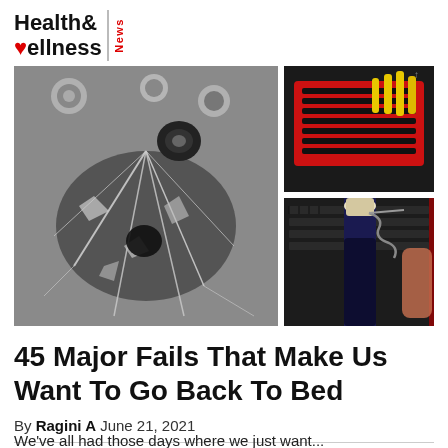Health& Wellness News
[Figure (photo): Three photos: left large photo shows a cracked car windshield/engine area with shattered glass; top right shows a red tool tray with yellow tools on a dark surface; bottom right shows a wine bottle being opened with a corkscrew near a laptop keyboard.]
45 Major Fails That Make Us Want To Go Back To Bed
By Ragini A June 21, 2021
We've all had those days where we just want...